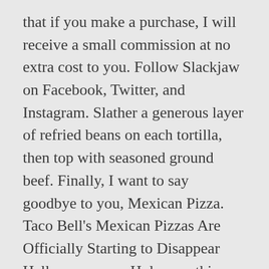that if you make a purchase, I will receive a small commission at no extra cost to you. Follow Slackjaw on Facebook, Twitter, and Instagram. Slather a generous layer of refried beans on each tortilla, then top with seasoned ground beef. Finally, I want to say goodbye to you, Mexican Pizza. Taco Bell's Mexican Pizzas Are Officially Starting to Disappear Hello, everyone. Holy cow this one was AMAZING! Thank you all for being here today. Cook flour tortilla's at 375°F for 30-45 seconds or until just golden brown. Mexican Pizza also witnessed its fair share of tragic family loss, watching the cruel assassination of its siblings, the Double Decker Taco, Enchirito, Cheesy Fiesta Potatoes, Gorditas, and Baja Sauce, to name a